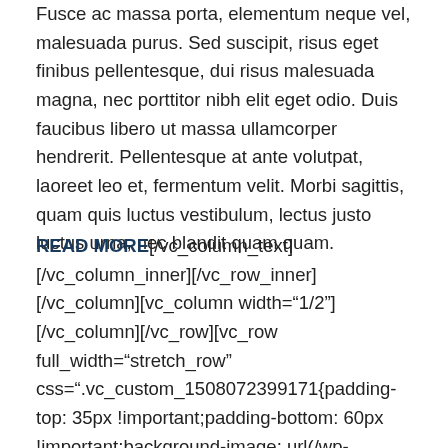Fusce ac massa porta, elementum neque vel, malesuada purus. Sed suscipit, risus eget finibus pellentesque, dui risus malesuada magna, nec porttitor nibh elit eget odio. Duis faucibus libero ut massa ullamcorper hendrerit. Pellentesque at ante volutpat, laoreet leo et, fermentum velit. Morbi sagittis, quam quis luctus vestibulum, lectus justo luctus urna, nec blandit quam quam.
READ MORE[/vc_column_text][/vc_column_inner][/vc_row_inner][/vc_column][vc_column width="1/2"][/vc_column][/vc_row][vc_row full_width="stretch_row" css=".vc_custom_1508072399171{padding-top: 35px !important;padding-bottom: 60px !important;background-image: url(/wp-content/uploads/2016/12/abstract-1883509_1920-1.jpg?id=1599) !important;background-position: center !important;background-repeat: no-repeat !important;background-size: cover !important;}"][vc_column][brtm_testimonials count="3" interval="3"][/vc_column][/vc_row][vc_row][vc_column][vc_custom_heading text="Refurbished devices shop"